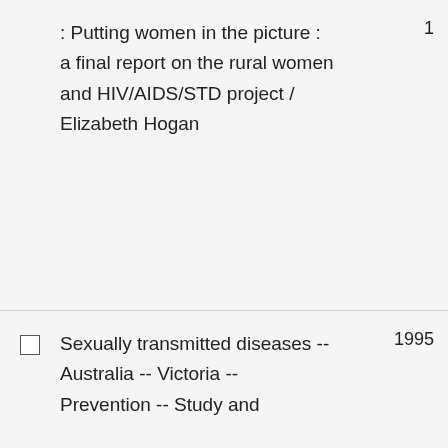: Putting women in the picture : a final report on the rural women and HIV/AIDS/STD project / Elizabeth Hogan
1
Sexually transmitted diseases -- Australia -- Victoria -- Prevention -- Study and
1995